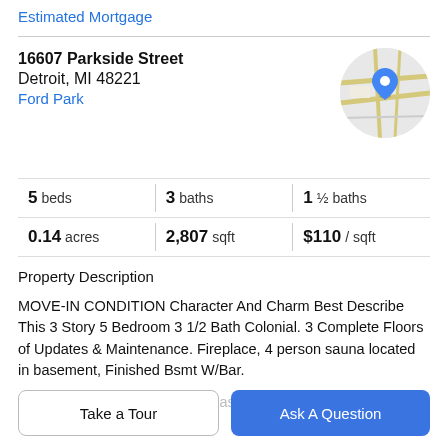Estimated Mortgage
16607 Parkside Street
Detroit, MI 48221
Ford Park
[Figure (map): Circular map thumbnail showing location pin at 16607 Parkside Street, Detroit, MI with street map background]
5 beds   3 baths   1 ½ baths
0.14 acres   2,807 sqft   $110 / sqft
Property Description
MOVE-IN CONDITION Character And Charm Best Describe This 3 Story 5 Bedroom 3 1/2 Bath Colonial. 3 Complete Floors of Updates & Maintenance. Fireplace, 4 person sauna located in basement, Finished Bsmt W/Bar.
Lin W/Loaded & Stain Glass, Master Bedroom On 3rd Fl